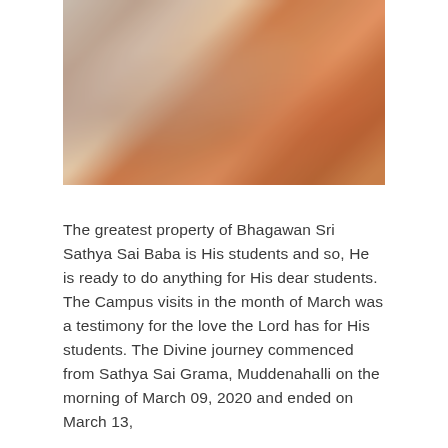[Figure (photo): A blurred photograph showing people in orange and white clothing, likely a religious or cultural gathering related to Bhagawan Sri Sathya Sai Baba.]
The greatest property of Bhagawan Sri Sathya Sai Baba is His students and so, He is ready to do anything for His dear students. The Campus visits in the month of March was a testimony for the love the Lord has for His students. The Divine journey commenced from Sathya Sai Grama, Muddenahalli on the morning of March 09, 2020 and ended on March 13, 2020...